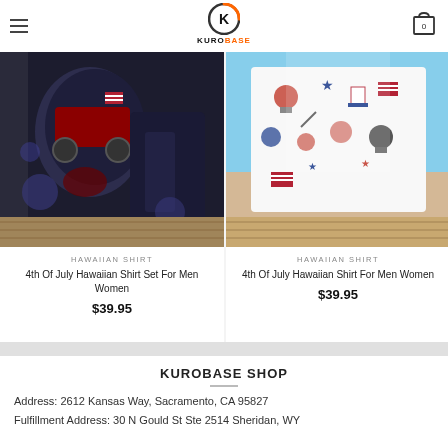[Figure (logo): Kurobase logo - K in circle with orange arc, text KUROBASE below]
[Figure (photo): 4th of July Hawaiian Shirt Set with monster truck and floral dark pattern, shirt and shorts displayed]
HAWAIIAN SHIRT
4th Of July Hawaiian Shirt Set For Men Women
$39.95
[Figure (photo): 4th of July Hawaiian Shirt For Men Women with patriotic BBQ icons pattern on white background]
HAWAIIAN SHIRT
4th Of July Hawaiian Shirt For Men Women
$39.95
KUROBASE SHOP
Address: 2612 Kansas Way, Sacramento, CA 95827
Fulfillment Address: 30 N Gould St Ste 2514 Sheridan, WY